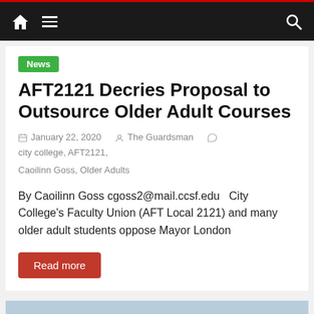Navigation bar with home icon, menu icon, search icon
News
AFT2121 Decries Proposal to Outsource Older Adult Courses
January 22, 2020   The Guardsman   city college, AFT2121, Caoilinn Goss, Older Adults
By Caoilinn Goss cgoss2@mail.ccsf.edu   City College's Faculty Union (AFT Local 2121) and many older adult students oppose Mayor London
Read more
[Figure (photo): Photo of a wooden board with graffiti/chalk markings including arrows pointing down and text reading 'SPEAK UP!' on the right side, with a posted notice in the middle.]